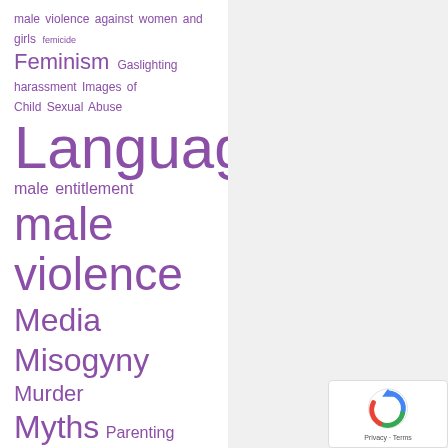[Figure (infographic): Tag cloud of topics related to violence against women, feminism, and abuse. Terms displayed in varying sizes and purple color, including: male violence against women and girls, femicide, Feminism, Gaslighting, harassment, Images of Child Sexual Abuse, Language, male entitlement, male violence, Media, Misogyny, Murder, Myths, Parenting, Police, Racism, Rape, rape culture, rape myths, Sexual Abuse, Sexual Assault, sexual violence, Stalking, Trauma, victim]
[Figure (logo): reCAPTCHA logo with Privacy and Terms links]